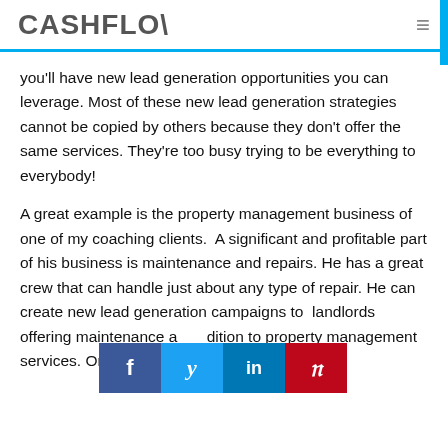CASHFLOW
you'll have new lead generation opportunities you can leverage. Most of these new lead generation strategies cannot be copied by others because they don't offer the same services. They're too busy trying to be everything to everybody!
A great example is the property management business of one of my coaching clients. A significant and profitable part of his business is maintenance and repairs. He has a great crew that can handle just about any type of repair. He can create new lead generation campaigns to landlords offering maintenance a…dition to property management services. Once he sells a repair
[Figure (infographic): Social sharing bar with Facebook, Twitter, LinkedIn, and Pinterest buttons]